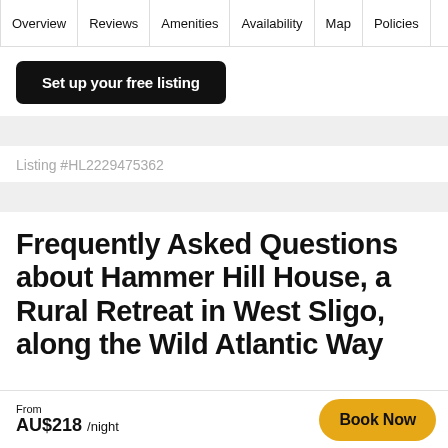Overview | Reviews | Amenities | Availability | Map | Policies
Set up your free listing
Listing #HL2229475362
Frequently Asked Questions about Hammer Hill House, a Rural Retreat in West Sligo, along the Wild Atlantic Way
From AU$218 /night
Book Now